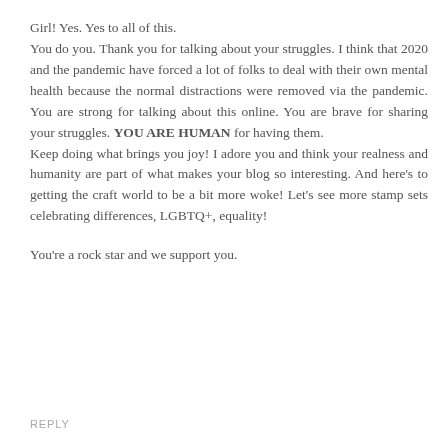Girl! Yes. Yes to all of this. You do you. Thank you for talking about your struggles. I think that 2020 and the pandemic have forced a lot of folks to deal with their own mental health because the normal distractions were removed via the pandemic. You are strong for talking about this online. You are brave for sharing your struggles. YOU ARE HUMAN for having them.
Keep doing what brings you joy! I adore you and think your realness and humanity are part of what makes your blog so interesting. And here's to getting the craft world to be a bit more woke! Let's see more stamp sets celebrating differences, LGBTQ+, equality!

You're a rock star and we support you.
REPLY